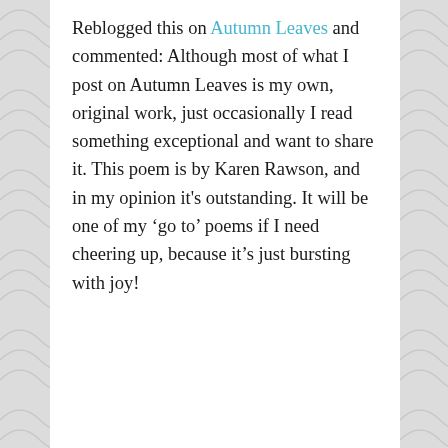Reblogged this on Autumn Leaves and commented: Although most of what I post on Autumn Leaves is my own, original work, just occasionally I read something exceptional and want to share it. This poem is by Karen Rawson, and in my opinion it's outstanding. It will be one of my 'go to' poems if I need cheering up, because it's just bursting with joy!
★ Liked by 1 person
k rawson
January 19, 2018 at 7:14 am · Reply
Oh Bonne, I'm s...